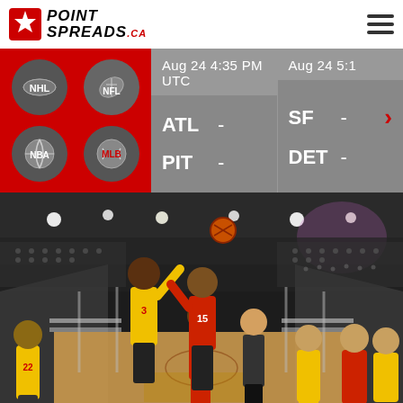[Figure (logo): PointSpreads.ca logo with Canadian maple leaf icon and hamburger menu icon]
[Figure (screenshot): Sports scores interface showing NHL, NFL, NBA, MLB sport icons on red background; two game matchups: ATL vs PIT (Aug 24 4:35 PM UTC) and SF vs DET (Aug 24 5:1...) both showing dashes for scores]
[Figure (photo): Basketball game photo showing a jump ball between players wearing yellow (#3) and red (#15) jerseys at an indoor arena with crowds in the background. Player in yellow is shooting/jumping.]